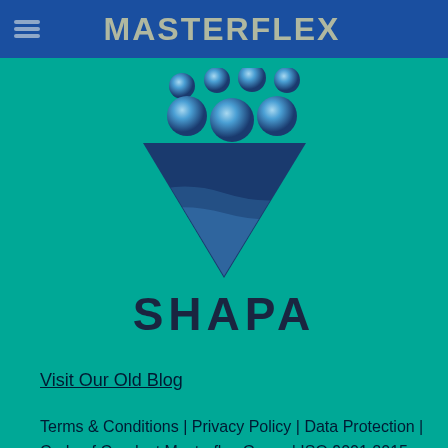MASTERFLEX
[Figure (logo): SHAPA logo: seven blue spheres arranged in an arc above a dark navy downward-pointing triangle with a wave/liquid effect inside, with the word SHAPA below in dark navy bold sans-serif text, on a teal background]
Visit Our Old Blog
Terms & Conditions | Privacy Policy | Data Protection | Code of Conduct Masterflex Group | ISO 9001:2015 Certificate | UK Modern Slavery Act Statement